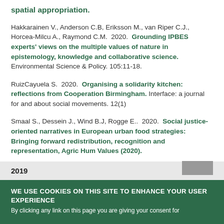spatial appropriation.
Hakkarainen V., Anderson C.B, Eriksson M., van Riper C.J., Horcea-Milcu A., Raymond C.M.  2020.  Grounding IPBES experts' views on the multiple values of nature in epistemology, knowledge and collaborative science.  Environmental Science & Policy. 105:11-18.
RuizCayuela S.  2020.  Organising a solidarity kitchen: reflections from Cooperation Birmingham.  Interface: a journal for and about social movements. 12(1)
Smaal S., Dessein J., Wind B.J, Rogge E..  2020.  Social justice-oriented narratives in European urban food strategies: Bringing forward redistribution, recognition and representation, Agric Hum Values (2020).
2019
WE USE COOKIES ON THIS SITE TO ENHANCE YOUR USER EXPERIENCE
By clicking any link on this page you are giving your consent for